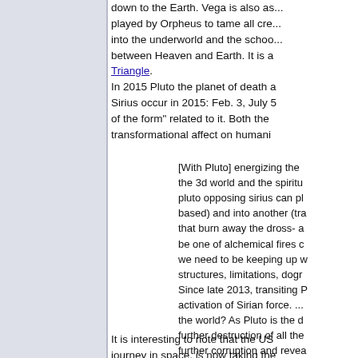about 1 hours after. On August 8th... down to the Earth. Vega is also as... played by Orpheus to tame all cre... into the underworld and the schoo... between Heaven and Earth. It is a... Triangle.
In 2015 Pluto the planet of death a... Sirius occur in 2015: Feb. 3, July 5... of the form" related to it. Both the... transformational affect on humani...
[With Pluto] energizing the ... the 3d world and the spiritu... pluto opposing sirius can pl... based) and into another (tra... that burn away the dross- a... be one of alchemical fires c... we need to be keeping up w... structures, limitations, dogr... Since late 2013, transiting P... activation of Sirian force. ... the world? As Pluto is the d... further destruction of all the... further corruption and revea... Capricorn. Phillip Lindsay ... Pluto's effect will be deci... (1776 Declaration of Indepe... USA's Sun, breaking up res...
It is interesting to note that the US... journey in space, is now taking the...